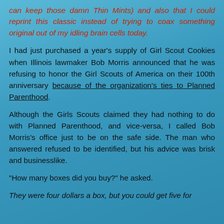can keep those damn Thin Mints) and also that I could reprint this classic instead of trying to coax something original out of my idling brain cells today.
I had just purchased a year's supply of Girl Scout Cookies when Illinois lawmaker Bob Morris announced that he was refusing to honor the Girl Scouts of America on their 100th anniversary because of the organization's ties to Planned Parenthood.
Although the Girls Scouts claimed they had nothing to do with Planned Parenthood, and vice-versa, I called Bob Morris's office just to be on the safe side. The man who answered refused to be identified, but his advice was brisk and businesslike.
"How many boxes did you buy?" he asked.
They were four dollars a box, but you could get five for